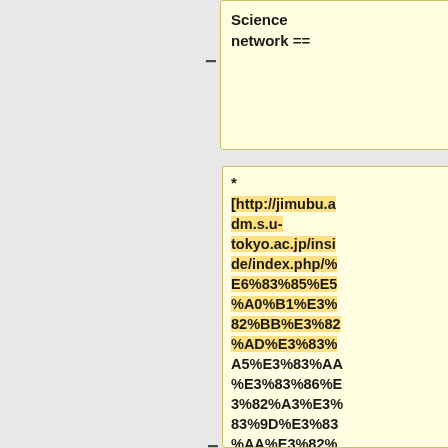Science network ==
for administrators ==
* [http://jimubu.adm.s.u-tokyo.ac.jp/inside/index.php/%E6%83%85%E5%A0%B1%E3%82%BB%E3%82%AD%E3%83%A5%E3%83%AA%E3%83%86%E3%82%A3%E3%83%9D%E3%83%AA%E3%82%B7%E3%83%BC Information security policy] (Japanese) (internal access